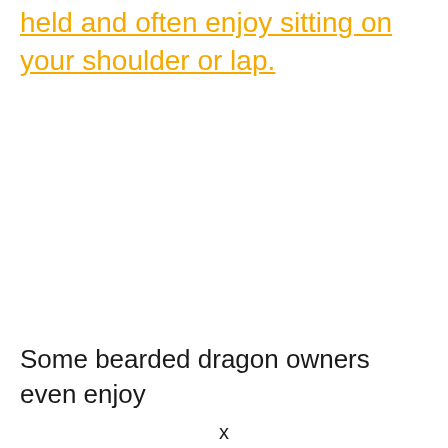held and often enjoy sitting on your shoulder or lap.
Some bearded dragon owners even enjoy
x